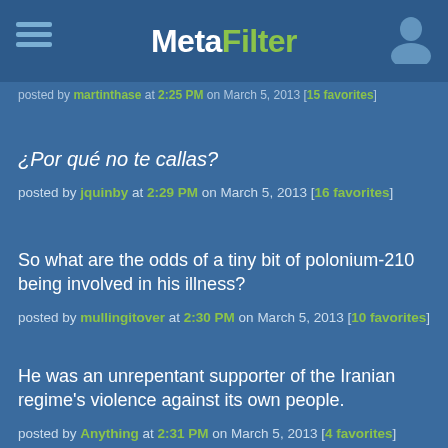MetaFilter
posted by martinthase at 2:25 PM on March 5, 2013 [15 favorites]
¿Por qué no te callas?
posted by jquinby at 2:29 PM on March 5, 2013 [16 favorites]
So what are the odds of a tiny bit of polonium-210 being involved in his illness?
posted by mullingitover at 2:30 PM on March 5, 2013 [10 favorites]
He was an unrepentant supporter of the Iranian regime's violence against its own people.
posted by Anything at 2:31 PM on March 5, 2013 [4 favorites]